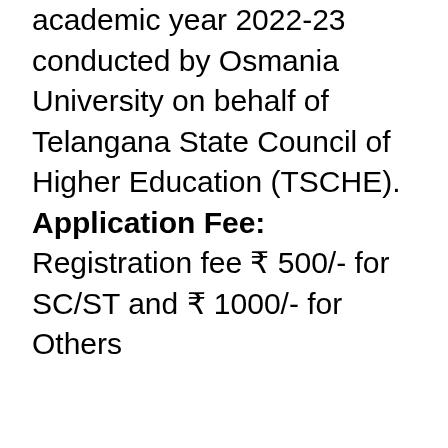academic year 2022-23 conducted by Osmania University on behalf of Telangana State Council of Higher Education (TSCHE). Application Fee: Registration fee ₹ 500/- for SC/ST and ₹ 1000/- for Others